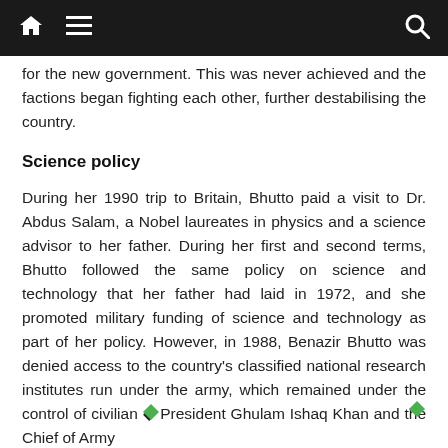Navigation bar with home, menu, and search icons
for the new government. This was never achieved and the factions began fighting each other, further destabilising the country.
Science policy
During her 1990 trip to Britain, Bhutto paid a visit to Dr. Abdus Salam, a Nobel laureates in physics and a science advisor to her father. During her first and second terms, Bhutto followed the same policy on science and technology that her father had laid in 1972, and she promoted military funding of science and technology as part of her policy. However, in 1988, Benazir Bhutto was denied access to the country's classified national research institutes run under the army, which remained under the control of civilian President Ghulam Ishaq Khan and the Chief of Army